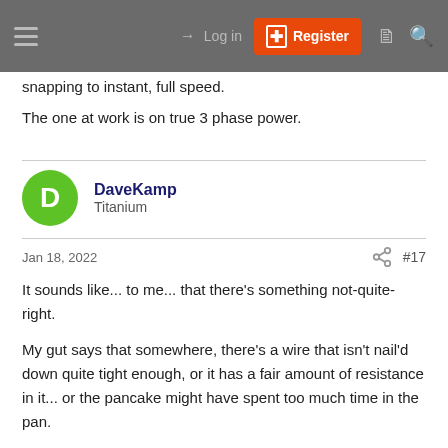Log in | Register
snapping to instant, full speed.
The one at work is on true 3 phase power.
DaveKamp
Titanium
Jan 18, 2022
#17
It sounds like... to me... that there's something not-quite-right.
My gut says that somewhere, there's a wire that isn't nail'd down quite tight enough, or it has a fair amount of resistance in it... or the pancake might have spent too much time in the pan.